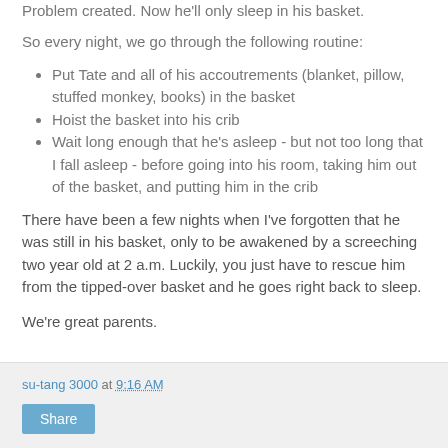Problem created. Now he'll only sleep in his basket.
So every night, we go through the following routine:
Put Tate and all of his accoutrements (blanket, pillow, stuffed monkey, books) in the basket
Hoist the basket into his crib
Wait long enough that he's asleep - but not too long that I fall asleep - before going into his room, taking him out of the basket, and putting him in the crib
There have been a few nights when I've forgotten that he was still in his basket, only to be awakened by a screeching two year old at 2 a.m. Luckily, you just have to rescue him from the tipped-over basket and he goes right back to sleep.
We're great parents.
su-tang 3000 at 9:16 AM Share